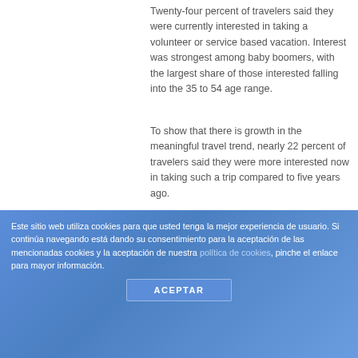Twenty-four percent of travelers said they were currently interested in taking a volunteer or service based vacation. Interest was strongest among baby boomers, with the largest share of those interested falling into the 35 to 54 age range.
To show that there is growth in the meaningful travel trend, nearly 22 percent of travelers said they were more interested now in taking such a trip compared to five years ago.
The gamut of volunteer travel opportunities is huge. You could work in Africa on construction, development and conservation
Este sitio web utiliza cookies para que usted tenga la mejor experiencia de usuario. Si continúa navegando está dando su consentimiento para la aceptación de las mencionadas cookies y la aceptación de nuestra política de cookies, pinche el enlace para mayor información.
ACEPTAR